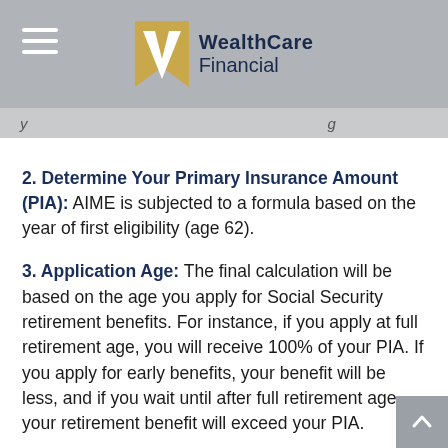WealthCare Financial
y ... g
2. Determine Your Primary Insurance Amount (PIA): AIME is subjected to a formula based on the year of first eligibility (age 62).
3. Application Age: The final calculation will be based on the age you apply for Social Security retirement benefits. For instance, if you apply at full retirement age, you will receive 100% of your PIA. If you apply for early benefits, your benefit will be less, and if you wait until after full retirement age, your retirement benefit will exceed your PIA.
If this all sounds complicated, that's because